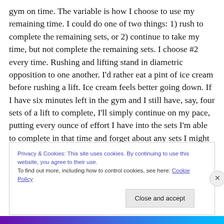gym on time. The variable is how I choose to use my remaining time. I could do one of two things: 1) rush to complete the remaining sets, or 2) continue to take my time, but not complete the remaining sets. I choose #2 every time. Rushing and lifting stand in diametric opposition to one another. I'd rather eat a pint of ice cream before rushing a lift. Ice cream feels better going down. If I have six minutes left in the gym and I still have, say, four sets of a lift to complete, I'll simply continue on my pace, putting every ounce of effort I have into the sets I'm able to complete in that time and forget about any sets I might
Privacy & Cookies: This site uses cookies. By continuing to use this website, you agree to their use.
To find out more, including how to control cookies, see here: Cookie Policy